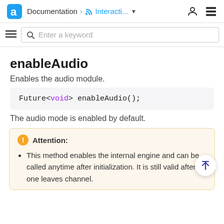Documentation > Interacti...
enableAudio
Enables the audio module.
The audio mode is enabled by default.
Attention:
This method enables the internal engine and can be called anytime after initialization. It is still valid after one leaves channel.